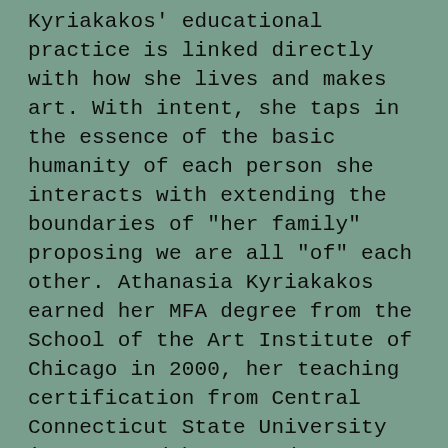Kyriakakos' educational practice is linked directly with how she lives and makes art. With intent, she taps in the essence of the basic humanity of each person she interacts with extending the boundaries of "her family" proposing we are all "of" each other. Athanasia Kyriakakos earned her MFA degree from the School of the Art Institute of Chicago in 2000, her teaching certification from Central Connecticut State University in 1995 and her BFA degree from The Maryland Institute, College of Art in 1991. While working in Baltimore City Public Schools she is a fierce advocate for her students and colleagues, as a political and union activist, mentor for young teachers, curriculum and art advisor, shaping Educational policy at the state level. Because of her commitment and impact in the areas of social equity, education and arts, she